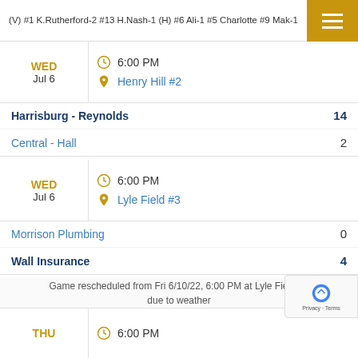(V) #1 K.Rutherford-2 #13 H.Nash-1 (H) #6 Ali-1 #5 Charlotte #9 Mak-1
WED Jul 6 | 6:00 PM | Henry Hill #2
| Team | Score |
| --- | --- |
| Harrisburg - Reynolds | 14 |
| Central - Hall | 2 |
WED Jul 6 | 6:00 PM | Lyle Field #3
| Team | Score |
| --- | --- |
| Morrison Plumbing | 0 |
| Wall Insurance | 4 |
Game rescheduled from Fri 6/10/22, 6:00 PM at Lyle Field #3 due to weather
THU | 6:00 PM